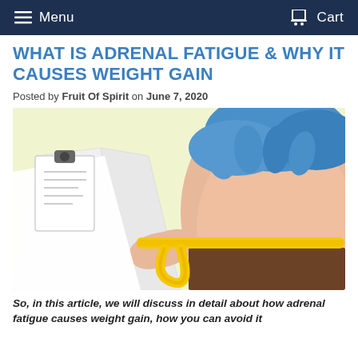Menu   Cart
WHAT IS ADRENAL FATIGUE & WHY IT CAUSES WEIGHT GAIN
Posted by Fruit Of Spirit on June 7, 2020
[Figure (illustration): Illustration of a doctor in a white coat and blue gloves measuring the waist of an overweight person using a yellow measuring tape, against a light yellow background.]
So, in this article, we will discuss in detail about how adrenal fatigue causes weight gain, how you can avoid it